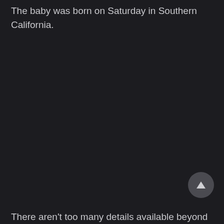The baby was born on Saturday in Southern California.
[Figure (other): Circular scroll-to-top button with upward-pointing triangle arrow icon, dark gray background]
There aren't too many details available beyond